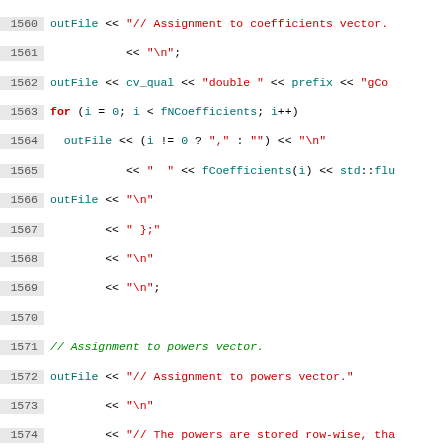[Figure (screenshot): Source code listing lines 1560-1589, C++ code for writing coefficients and powers vectors to an output file. Line numbers shown on left in gray background. Keywords in bold red, string literals in red, identifiers in teal/cyan, comments in green italic.]